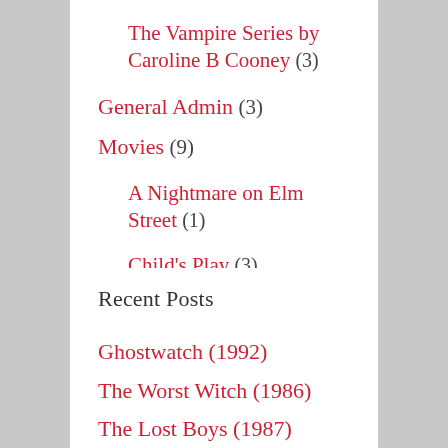The Vampire Series by Caroline B Cooney (3)
General Admin (3)
Movies (9)
A Nightmare on Elm Street (1)
Child's Play (3)
Recent Posts
Ghostwatch (1992)
The Worst Witch (1986)
The Lost Boys (1987)
Curse of Chucky (2013)